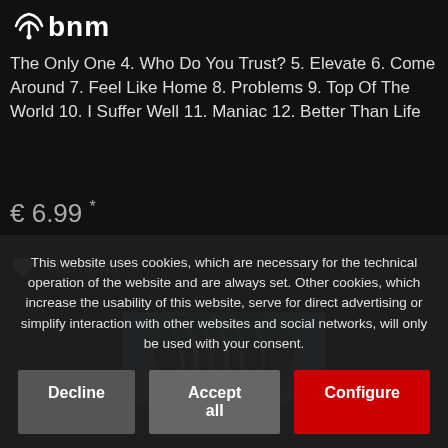[Figure (logo): BNM logo with wifi/broadcast icon above letters 'bnm']
The Only One 4. Who Do You Trust? 5. Elevate 6. Come Around 7. Feel Like Home 8. Problems 9. Top Of The World 10. I Suffer Well 11. Maniac 12. Better Than Life
€ 6.99 *
♥ Remember
[Figure (photo): Album cover art showing close-up of a person with dark and silver hair]
This website uses cookies, which are necessary for the technical operation of the website and are always set. Other cookies, which increase the usability of this website, serve for direct advertising or simplify interaction with other websites and social networks, will only be used with your consent.
Decline
Accept all
Configure